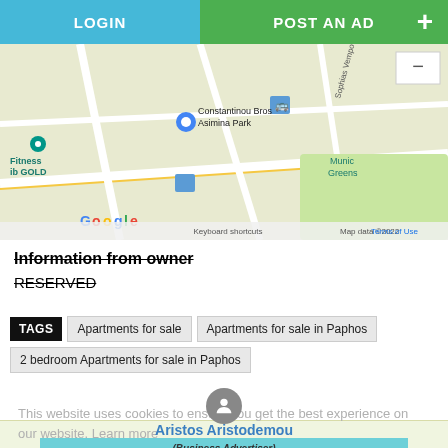LOGIN | POST AN AD +
[Figure (map): Google Maps showing area with Constantinou Bros Asimina Park, Fitness Club GOLD, Municipal Greens, streets including Sophias Vempo. Shows keyboard shortcuts and Map data ©2022 Terms of Use.]
Information from owner
RESERVED
TAGS: Apartments for sale | Apartments for sale in Paphos | 2 bedroom Apartments for sale in Paphos
This website uses cookies to ensure you get the best experience on our website. Learn more
Aristos Aristodemou
(Business Advertiser)
region: Paphos